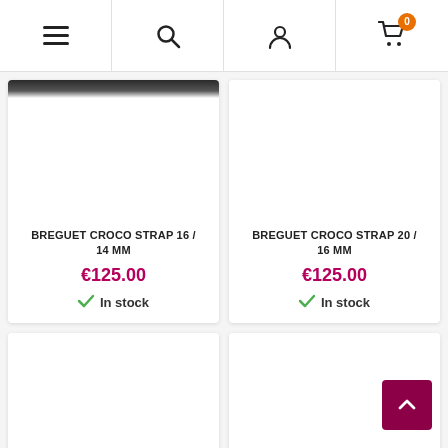[Figure (screenshot): Navigation bar with hamburger menu, search icon, person/account icon, and shopping cart icon with orange badge showing 0]
BREGUET CROCO STRAP 16 / 14 MM
€125.00
In stock
BREGUET CROCO STRAP 20 / 16 MM
€125.00
In stock
[Figure (photo): Empty product image placeholder (bottom left product card)]
[Figure (photo): Empty product image placeholder (bottom right product card)]